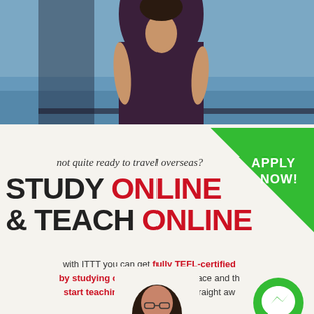[Figure (photo): Top portion of a woman in a dark navy/purple dress standing near water, cropped at upper body]
[Figure (infographic): Green triangle corner badge with white bold text 'APPLY NOW!']
not quite ready to travel overseas?
STUDY ONLINE & TEACH ONLINE
with ITTT you can get fully TEFL-certified by studying online at your own pace and then start teaching English online straight away
[Figure (photo): Bottom of page: top of a woman's head with dark hair and glasses, partially visible]
[Figure (logo): Green circular Facebook Messenger icon with white lightning bolt symbol]